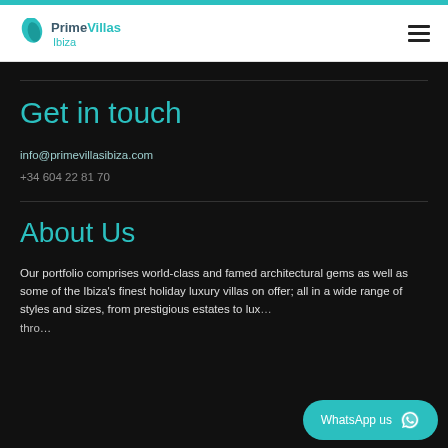Prime Villas Ibiza
Get in touch
info@primevillasibiza.com
+34 604 22 81 70
About Us
Our portfolio comprises world-class and famed architectural gems as well as some of the Ibiza's finest holiday luxury villas on offer; all in a wide range of styles and sizes, from prestigious estates to lux... (continued)